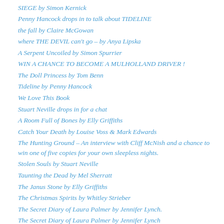SIEGE by Simon Kernick
Penny Hancock drops in to talk about TIDELINE
the fall by Claire McGowan
where THE DEVIL can't go – by Anya Lipska
A Serpent Uncoiled by Simon Spurrier
WIN A CHANCE TO BECOME A MULHOLLAND DRIVER !
The Doll Princess by Tom Benn
Tideline by Penny Hancock
We Love This Book
Stuart Neville drops in for a chat
A Room Full of Bones by Elly Griffiths
Catch Your Death by Louise Voss & Mark Edwards
The Hunting Ground – An interview with Cliff McNish and a chance to win one of five copies for your own sleepless nights.
Stolen Souls by Stuart Neville
Taunting the Dead by Mel Sherratt
The Janus Stone by Elly Griffiths
The Christmas Spirits by Whitley Strieber
The Secret Diary of Laura Palmer by Jennifer Lynch.
The Secret Diary of Laura Palmer by Jennifer Lynch